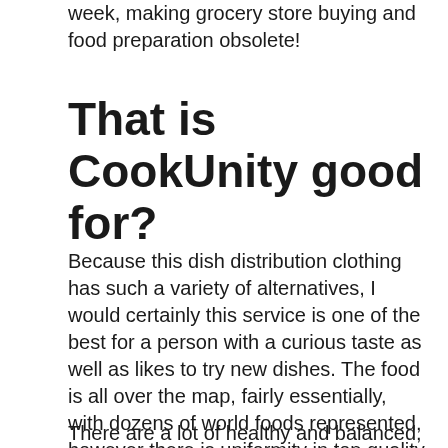week, making grocery store buying and food preparation obsolete!
That is CookUnity good for?
Because this dish distribution clothing has such a variety of alternatives, I would certainly this service is one of the best for a person with a curious taste as well as likes to try new dishes. The food is all over the map, fairly essentially, with dozens of world foods represented, however there is uniformity in top quality and all of the meals I attempted were at the very least strong or better.
There are a lot of healthy and balanced, low